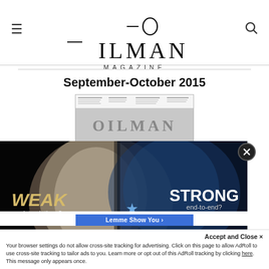OILMAN MAGAZINE
September-October 2015
[Figure (screenshot): Thumbnail of Oilman Magazine September-October 2015 cover with table of contents rows and OILMAN masthead]
[Figure (photo): Advertisement overlay showing a split wolf image — left side white wolf labeled WEAK point solutions? NO THX!, right side blue wolf labeled STRONG end-to-end? YESSSSS, I want, with PakEnergy logo]
Lemme Show You →
Accept and Close ✕
Your browser settings do not allow cross-site tracking for advertising. Click on this page to allow AdRoll to use cross-site tracking to tailor ads to you. Learn more or opt out of this AdRoll tracking by clicking here. This message only appears once.